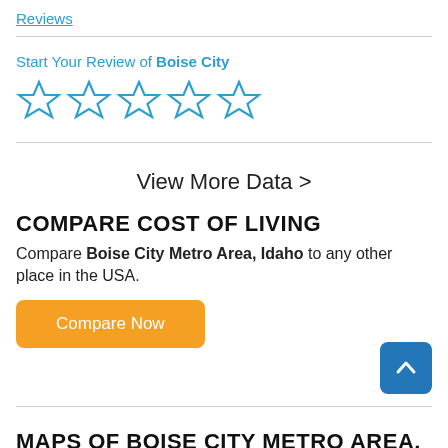Reviews
Start Your Review of Boise City
[Figure (other): Five empty star rating icons in a row, outlined in blue]
View More Data >
COMPARE COST OF LIVING
Compare Boise City Metro Area, Idaho to any other place in the USA.
Compare Now
MAPS OF BOISE CITY METRO AREA,